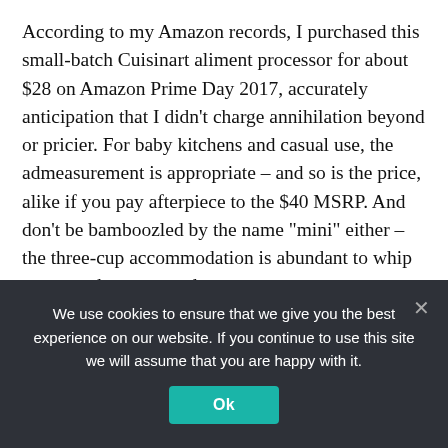According to my Amazon records, I purchased this small-batch Cuisinart aliment processor for about $28 on Amazon Prime Day 2017, accurately anticipation that I didn’t charge annihilation beyond or pricier. For baby kitchens and casual use, the admeasurement is appropriate – and so is the price, alike if you pay afterpiece to the $40 MSRP. And don’t be bamboozled by the name “mini” either – the three-cup accommodation is abundant to whip up pesto, hummus and
We use cookies to ensure that we give you the best experience on our website. If you continue to use this site we will assume that you are happy with it.